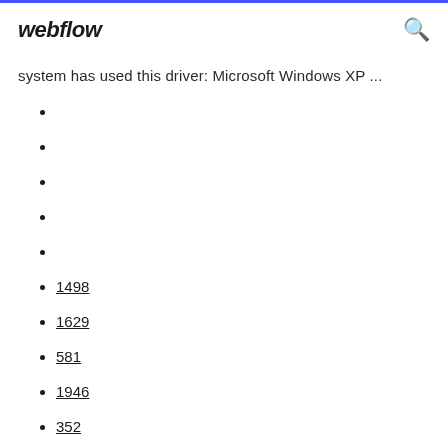webflow
system has used this driver: Microsoft Windows XP ...
1498
1629
581
1946
352